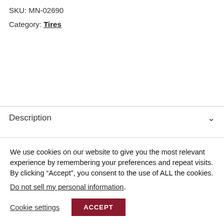SKU: MN-02690
Category: Tires
Description
Part Numbers
Brand
We use cookies on our website to give you the most relevant experience by remembering your preferences and repeat visits. By clicking “Accept”, you consent to the use of ALL the cookies.
Do not sell my personal information.
Cookie settings
ACCEPT